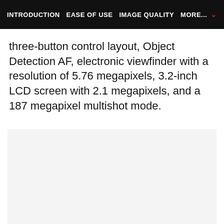INTRODUCTION   EASE OF USE   IMAGE QUALITY   MORE...
three-button control layout, Object Detection AF, electronic viewfinder with a resolution of 5.76 megapixels, 3.2-inch LCD screen with 2.1 megapixels, and a 187 megapixel multishot mode.
[Figure (photo): Light gray placeholder image area below the text content]